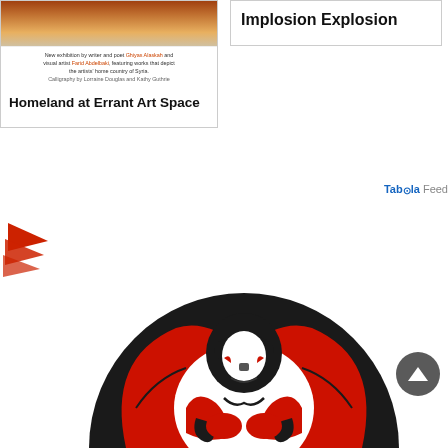[Figure (photo): Card showing an exhibition photo of Syria artwork with text beneath, titled 'Homeland at Errant Art Space']
Homeland at Errant Art Space
Implosion Explosion
Taboola Feed
[Figure (logo): Taboola red layered arrow logo icon]
[Figure (illustration): Circular Native/Indigenous art illustration featuring a figure with traditional Northwest Coast Indigenous design elements in red, black, and white]